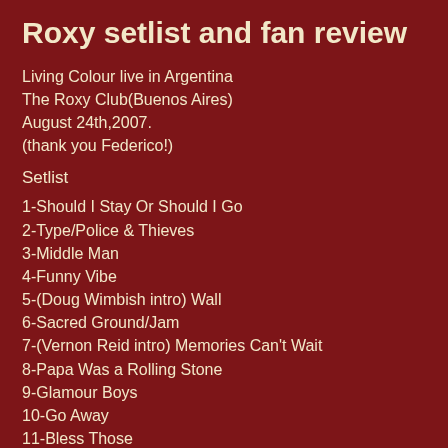Roxy setlist and fan review
Living Colour live in Argentina
The Roxy Club(Buenos Aires)
August 24th,2007.
(thank you Federico!)
Setlist
1-Should I Stay Or Should I Go
2-Type/Police & Thieves
3-Middle Man
4-Funny Vibe
5-(Doug Wimbish intro) Wall
6-Sacred Ground/Jam
7-(Vernon Reid intro) Memories Can't Wait
8-Papa Was a Rolling Stone
9-Glamour Boys
10-Go Away
11-Bless Those
12-Ignorance is Bliss
13-Flying/Crazy/Jam